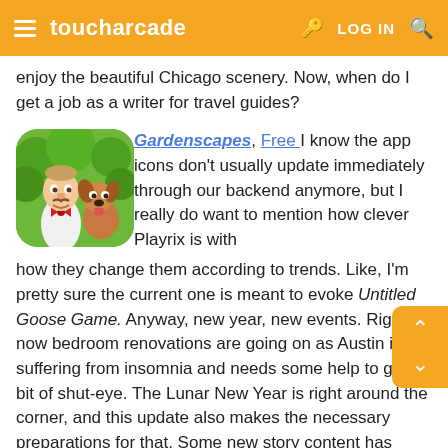toucharcade  LOG IN
enjoy the beautiful Chicago scenery. Now, when do I get a job as a writer for travel guides?
[Figure (illustration): Gardenscapes app icon showing a cartoon butler man with a dog against a green garden background with rounded corners]
Gardenscapes, Free I know the app icons don't usually update immediately through our backend anymore, but I really do want to mention how clever Playrix is with how they change them according to trends. Like, I'm pretty sure the current one is meant to evoke Untitled Goose Game. Anyway, new year, new events. Right now bedroom renovations are going on as Austin is suffering from insomnia and needs some help to get a bit of shut-eye. The Lunar New Year is right around the corner, and this update also makes the necessary preparations for that. Some new story content has been added, along with a new